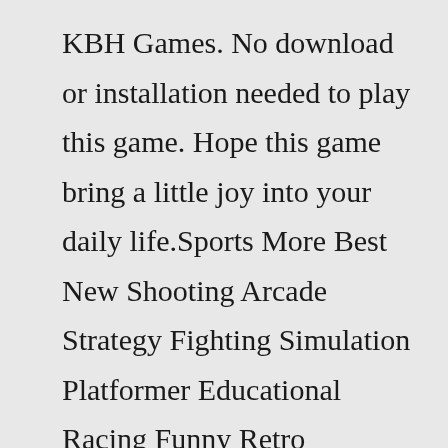KBH Games. No download or installation needed to play this game. Hope this game bring a little joy into your daily life.Sports More Best New Shooting Arcade Strategy Fighting Simulation Platformer Educational Racing Funny Retro Multiplayer Run Board Card Cartoon Skill Casual Car Download KBH Games Rhythm Games Friday Night Funkin FNF Mod Termination Extreme...Friday Night Funkin Garcello